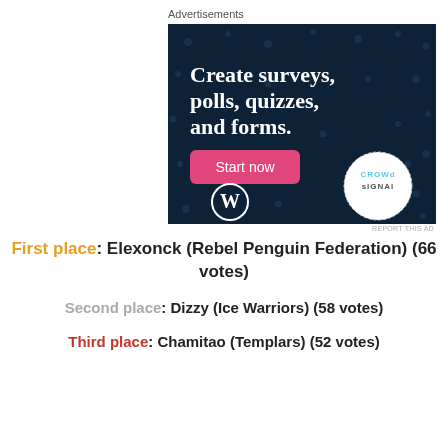[Figure (other): Advertisement banner for CrowdSignal / WordPress: dark navy background with dots, white text 'Create surveys, polls, quizzes, and forms.', pink 'Start now' button, WordPress logo bottom left, CrowdSignal logo in white circle bottom right.]
First place: Elexonck (Rebel Penguin Federation) (66 votes)
Second place: Dizzy (Ice Warriors) (58 votes)
Third place: Chamitao (Templars) (52 votes)